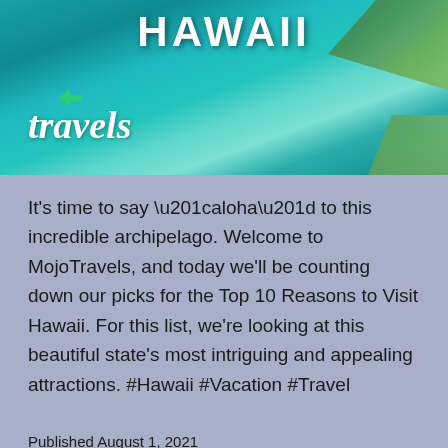[Figure (photo): Aerial photo of Hawaii coastline with turquoise ocean water and green land masses. Text overlay reads 'HAWAII' at top and 'travels' in italic script at bottom left with a small green arrow/logo icon.]
It's time to say “aloha” to this incredible archipelago. Welcome to MojoTravels, and today we’ll be counting down our picks for the Top 10 Reasons to Visit Hawaii. For this list, we’re looking at this beautiful state’s most intriguing and appealing attractions. #Hawaii #Vacation #Travel
Published August 1, 2021
Categorized as Uncategorized